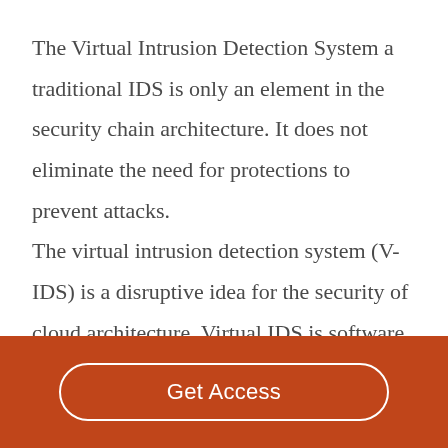The Virtual Intrusion Detection System a traditional IDS is only an element in the security chain architecture. It does not eliminate the need for protections to prevent attacks. The virtual intrusion detection system (V-IDS) is a disruptive idea for the security of cloud architecture. Virtual IDS is software and sometimes hardware that captures cloud network
Get Access